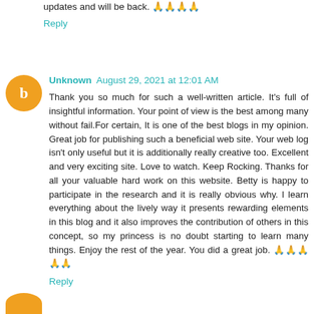updates and will be back. 🙏🙏🙏🙏
Reply
Unknown  August 29, 2021 at 12:01 AM
Thank you so much for such a well-written article. It's full of insightful information. Your point of view is the best among many without fail.For certain, It is one of the best blogs in my opinion. Great job for publishing such a beneficial web site. Your web log isn't only useful but it is additionally really creative too. Excellent and very exciting site. Love to watch. Keep Rocking. Thanks for all your valuable hard work on this website. Betty is happy to participate in the research and it is really obvious why. I learn everything about the lively way it presents rewarding elements in this blog and it also improves the contribution of others in this concept, so my princess is no doubt starting to learn many things. Enjoy the rest of the year. You did a great job. 🙏🙏🙏🙏🙏
Reply